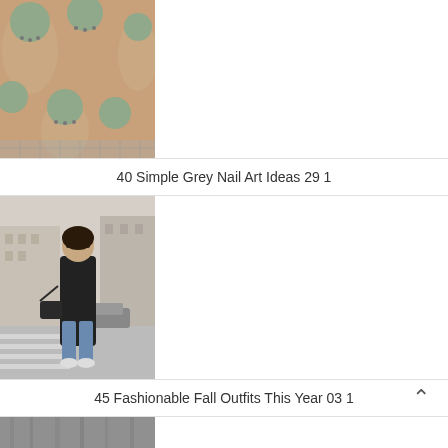[Figure (photo): Close-up photo of hands with sage green/grey nail polish with small studded details on nails]
40 Simple Grey Nail Art Ideas 29 1
[Figure (photo): Woman wearing black long coat, blue jeans, black sunglasses, carrying a black bag, standing on a city street]
45 Fashionable Fall Outfits This Year 03 1
[Figure (photo): Person wearing grey wrap/poncho with dark clothing visible, partial view]